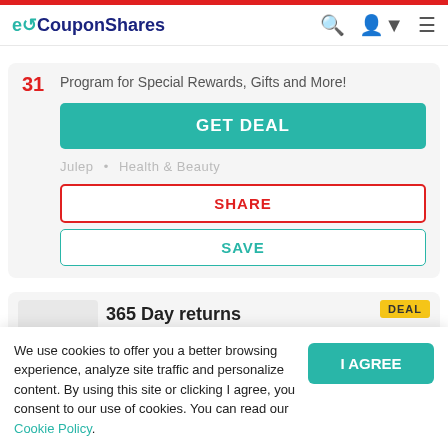eCouponShares
31
Program for Special Rewards, Gifts and More!
GET DEAL
Julep • Health & Beauty
SHARE
SAVE
DEAL
365 Day returns
We use cookies to offer you a better browsing experience, analyze site traffic and personalize content. By using this site or clicking I agree, you consent to our use of cookies. You can read our Cookie Policy.
I AGREE